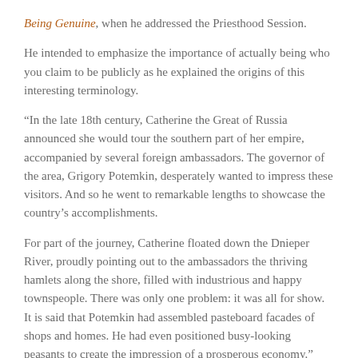Being Genuine, when he addressed the Priesthood Session.
He intended to emphasize the importance of actually being who you claim to be publicly as he explained the origins of this interesting terminology.
“In the late 18th century, Catherine the Great of Russia announced she would tour the southern part of her empire, accompanied by several foreign ambassadors. The governor of the area, Grigory Potemkin, desperately wanted to impress these visitors. And so he went to remarkable lengths to showcase the country’s accomplishments.
For part of the journey, Catherine floated down the Dnieper River, proudly pointing out to the ambassadors the thriving hamlets along the shore, filled with industrious and happy townspeople. There was only one problem: it was all for show. It is said that Potemkin had assembled pasteboard facades of shops and homes. He had even positioned busy-looking peasants to create the impression of a prosperous economy.”